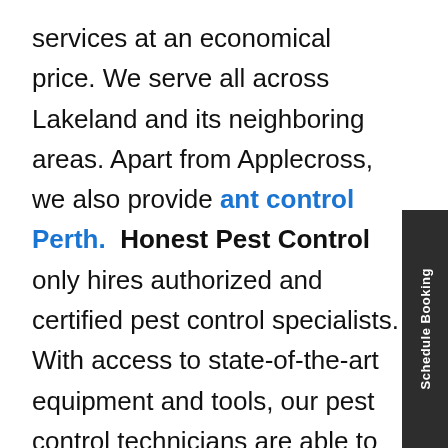services at an economical price. We serve all across Lakeland and its neighboring areas. Apart from Applecross, we also provide ant control Perth. Honest Pest Control only hires authorized and certified pest control specialists. With access to state-of-the-art equipment and tools, our pest control technicians are able to immediately find the place of ant infestation and implement effective solutions to totally eliminate these annoying pests from your property.

Our ant control Applecross experts only use biodegradable, environmentally-safe and